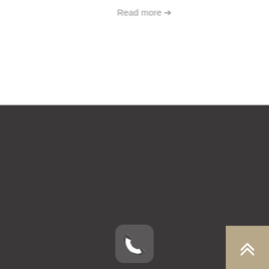Read more →
[Figure (illustration): Phone icon in rounded square]
+371 26472292
CONTACT US
[Figure (illustration): Clock icon circle]
WORKING TIME
MON – F: 9.00 - 18.00
[Figure (illustration): Back to top button with chevrons]